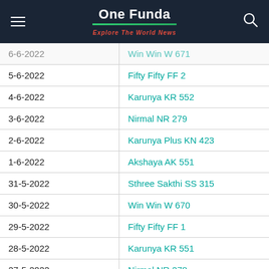One Funda — Explore The World News
| Date | Lottery Name |
| --- | --- |
| 6-6-2022 | Win Win W 671 |
| 5-6-2022 | Fifty Fifty FF 2 |
| 4-6-2022 | Karunya KR 552 |
| 3-6-2022 | Nirmal NR 279 |
| 2-6-2022 | Karunya Plus KN 423 |
| 1-6-2022 | Akshaya AK 551 |
| 31-5-2022 | Sthree Sakthi SS 315 |
| 30-5-2022 | Win Win W 670 |
| 29-5-2022 | Fifty Fifty FF 1 |
| 28-5-2022 | Karunya KR 551 |
| 27-5-2022 | Nirmal NR 278 |
| 26-5-2022 | Karunya Plus KN 422 |
| 25-5-2022 | Akshaya AK 550 |
| 24-5-2022 | Sthree Sakthi SS 314 |